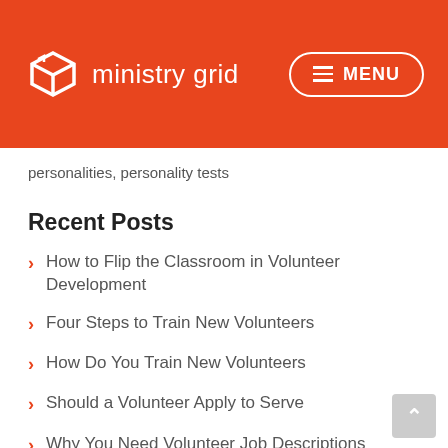ministry grid   MENU
personalities, personality tests
Recent Posts
How to Flip the Classroom in Volunteer Development
Four Steps to Train New Volunteers
How Do You Train New Volunteers
Should a Volunteer Apply to Serve
Why You Need Volunteer Job Descriptions